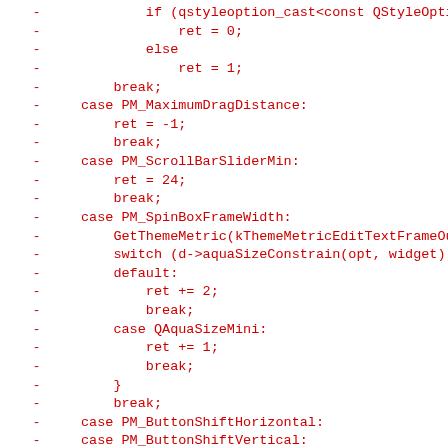Code diff showing removed lines (in red) from a C++/Qt source file, including switch-case statements for PM_MaximumDragDistance, PM_ScrollBarSliderMin, PM_SpinBoxFrameWidth, PM_ButtonShiftHorizontal, PM_ButtonShiftVertical, PM_SliderLength pixel metric cases.